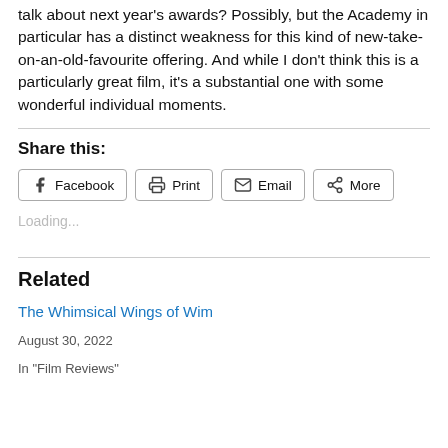talk about next year's awards? Possibly, but the Academy in particular has a distinct weakness for this kind of new-take-on-an-old-favourite offering. And while I don't think this is a particularly great film, it's a substantial one with some wonderful individual moments.
Share this:
Loading...
Related
The Whimsical Wings of Wim
August 30, 2022
In "Film Reviews"